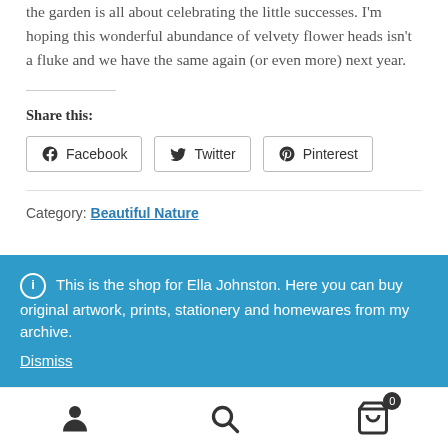the garden is all about celebrating the little successes. I'm hoping this wonderful abundance of velvety flower heads isn't a fluke and we have the same again (or even more) next year.
Share this:
Facebook  Twitter  Pinterest
Category: Beautiful Nature
ⓘ  This is the shop for Ella Johnston. Here you can buy original artwork, prints, stationery and homewares from my archive.
Dismiss